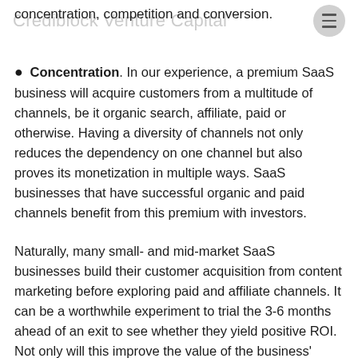concentration, competition and conversion.
Crediblock Venture Capital
Concentration. In our experience, a premium SaaS business will acquire customers from a multitude of channels, be it organic search, affiliate, paid or otherwise. Having a diversity of channels not only reduces the dependency on one channel but also proves its monetization in multiple ways. SaaS businesses that have successful organic and paid channels benefit from this premium with investors.
Naturally, many small- and mid-market SaaS businesses build their customer acquisition from content marketing before exploring paid and affiliate channels. It can be a worthwhile experiment to trial the 3-6 months ahead of an exit to see whether they yield positive ROI. Not only will this improve the value of the business' earnings (and thus the SDE for valuation) but it will demonstrate to